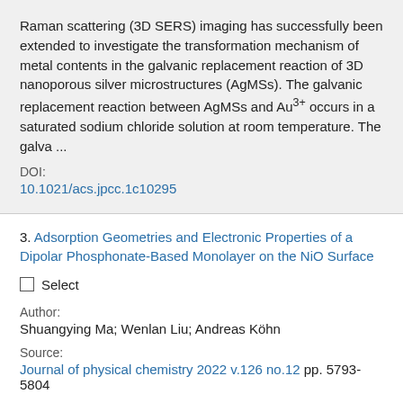Raman scattering (3D SERS) imaging has successfully been extended to investigate the transformation mechanism of metal contents in the galvanic replacement reaction of 3D nanoporous silver microstructures (AgMSs). The galvanic replacement reaction between AgMSs and Au3+ occurs in a saturated sodium chloride solution at room temperature. The galva ...
DOI:
10.1021/acs.jpcc.1c10295
3. Adsorption Geometries and Electronic Properties of a Dipolar Phosphonate-Based Monolayer on the NiO Surface
Select
Author:
Shuangying Ma; Wenlan Liu; Andreas Köhn
Source:
Journal of physical chemistry 2022 v.126 no.12 pp. 5793-5804
ISSN: